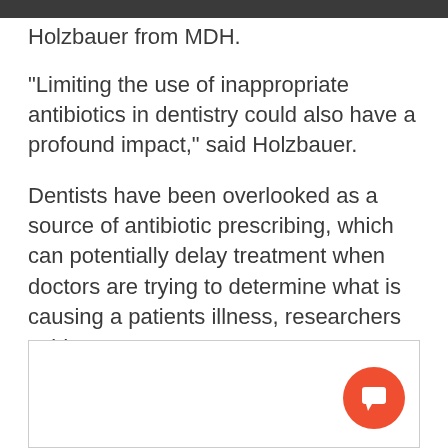Holzbauer from MDH.
"Limiting the use of inappropriate antibiotics in dentistry could also have a profound impact," said Holzbauer.
Dentists have been overlooked as a source of antibiotic prescribing, which can potentially delay treatment when doctors are trying to determine what is causing a patients illness, researchers said.
[Figure (other): Empty white box with a red chat/comment button in the lower right corner]